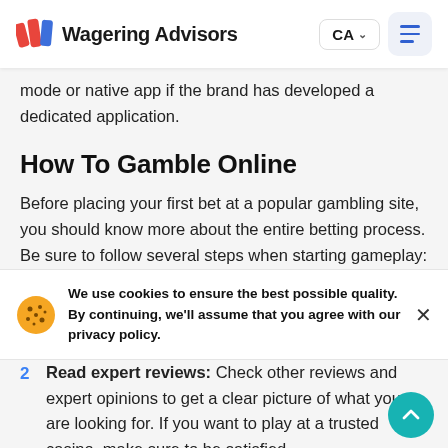Wagering Advisors — CA
mode or native app if the brand has developed a dedicated application.
How To Gamble Online
Before placing your first bet at a popular gambling site, you should know more about the entire betting process. Be sure to follow several steps when starting gameplay:
1  Choose a casino from our rating: You should stick to the providers from our list as they feature the best combination
We use cookies to ensure the best possible quality. By continuing, we'll assume that you agree with our privacy policy.
2  Read expert reviews: Check other reviews and expert opinions to get a clear picture of what you are looking for. If you want to play at a trusted casino, make sure to be satisfied